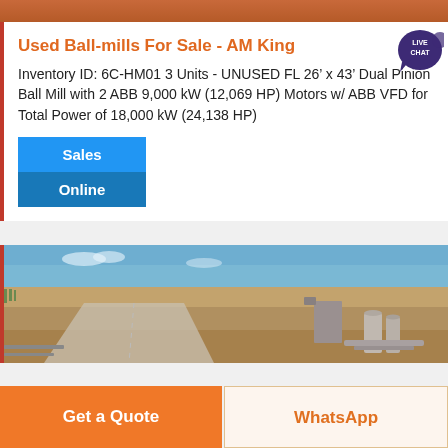Used Ball-mills For Sale - AM King
Used Ball-mills For Sale - AM King
Inventory ID: 6C-HM01 3 Units - UNUSED FL 26’ x 43’ Dual Pinion Ball Mill with 2 ABB 9,000 kW (12,069 HP) Motors w/ ABB VFD for Total Power of 18,000 kW (24,138 HP)
Sales
Online
[Figure (photo): Aerial or elevated view of an open industrial or mining site with dry flat terrain, a road, and equipment/silos visible in the background under a blue sky.]
Get a Quote
WhatsApp